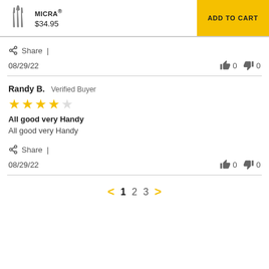MICRA® $34.95 | ADD TO CART
Share |
08/29/22   👍 0  👎 0
Randy B. Verified Buyer
★★★★☆
All good very Handy
All good very Handy
Share |
08/29/22   👍 0  👎 0
< 1 2 3 >